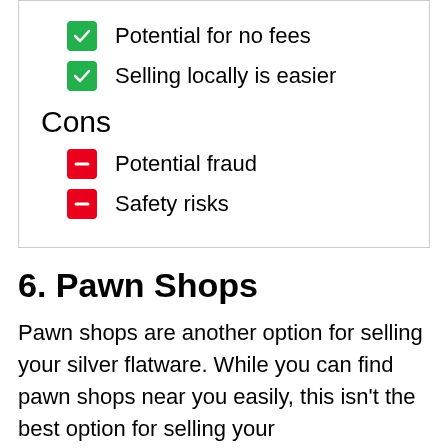Potential for no fees
Selling locally is easier
Cons
Potential fraud
Safety risks
6. Pawn Shops
Pawn shops are another option for selling your silver flatware. While you can find pawn shops near you easily, this isn't the best option for selling your